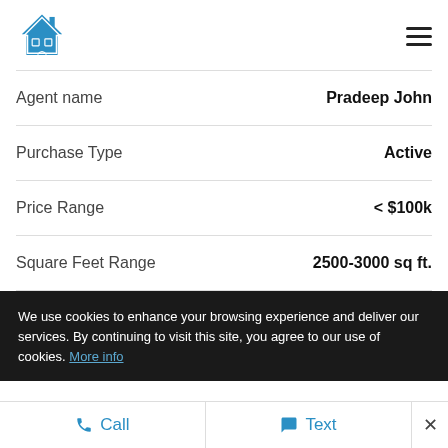[Figure (logo): Blue house icon logo with white windows and door outline]
| Agent name | Pradeep John |
| Purchase Type | Active |
| Price Range | < $100k |
| Square Feet Range | 2500-3000 sq ft. |
We use cookies to enhance your browsing experience and deliver our services. By continuing to visit this site, you agree to our use of cookies. More info
Call   Text   ×